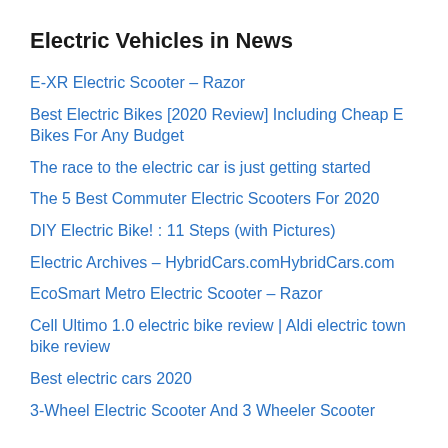Electric Vehicles in News
E-XR Electric Scooter – Razor
Best Electric Bikes [2020 Review] Including Cheap E Bikes For Any Budget
The race to the electric car is just getting started
The 5 Best Commuter Electric Scooters For 2020
DIY Electric Bike! : 11 Steps (with Pictures)
Electric Archives – HybridCars.comHybridCars.com
EcoSmart Metro Electric Scooter – Razor
Cell Ultimo 1.0 electric bike review | Aldi electric town bike review
Best electric cars 2020
3-Wheel Electric Scooter And 3 Wheeler Scooter